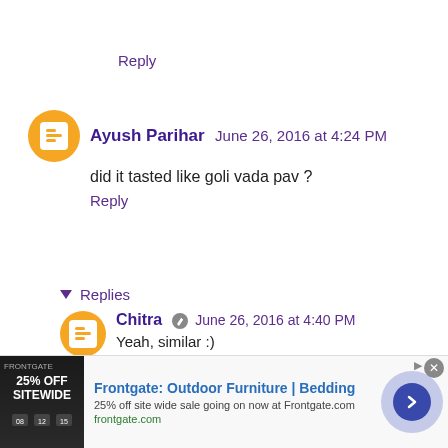Reply
Ayush Parihar  June 26, 2016 at 4:24 PM
did it tasted like goli vada pav ?
Reply
▼  Replies
Chitra  June 26, 2016 at 4:40 PM
Yeah, similar :)
Reply
[Figure (infographic): Advertisement banner for Frontgate: Outdoor Furniture | Bedding. 25% off site wide sale going on now at Frontgate.com. frontgate.com]